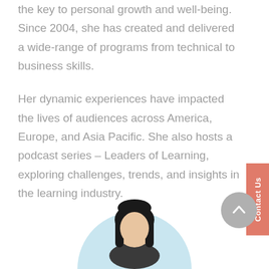the key to personal growth and well-being. Since 2004, she has created and delivered a wide-range of programs from technical to business skills.
Her dynamic experiences have impacted the lives of audiences across America, Europe, and Asia Pacific. She also hosts a podcast series – Leaders of Learning, exploring challenges, trends, and insights in the learning industry.
[Figure (illustration): Illustrated portrait of a woman with dark hair inside a light blue circle, partially cropped at the bottom of the page.]